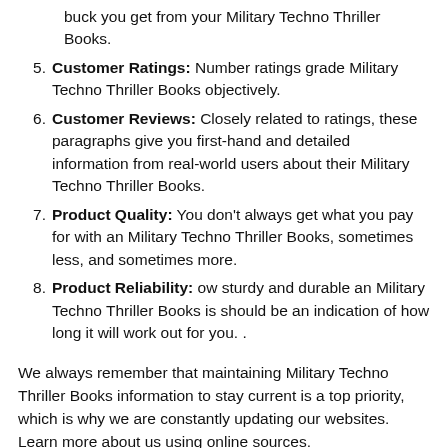buck you get from your Military Techno Thriller Books.
5. Customer Ratings: Number ratings grade Military Techno Thriller Books objectively.
6. Customer Reviews: Closely related to ratings, these paragraphs give you first-hand and detailed information from real-world users about their Military Techno Thriller Books.
7. Product Quality: You don't always get what you pay for with an Military Techno Thriller Books, sometimes less, and sometimes more.
8. Product Reliability: ow sturdy and durable an Military Techno Thriller Books is should be an indication of how long it will work out for you. .
We always remember that maintaining Military Techno Thriller Books information to stay current is a top priority, which is why we are constantly updating our websites. Learn more about us using online sources.